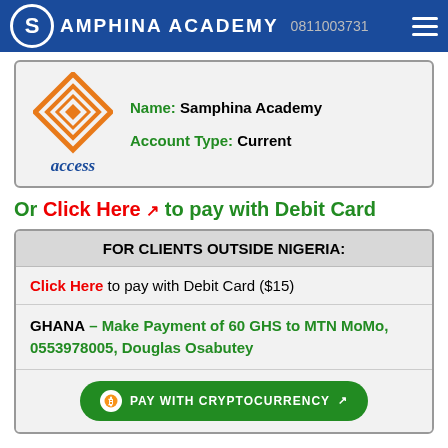SAMPHINA ACADEMY  0811003731
Name: Samphina Academy
Account Type: Current
Or Click Here to pay with Debit Card
FOR CLIENTS OUTSIDE NIGERIA:
Click Here to pay with Debit Card ($15)
GHANA – Make Payment of 60 GHS to MTN MoMo, 0553978005, Douglas Osabutey
PAY WITH CRYPTOCURRENCY